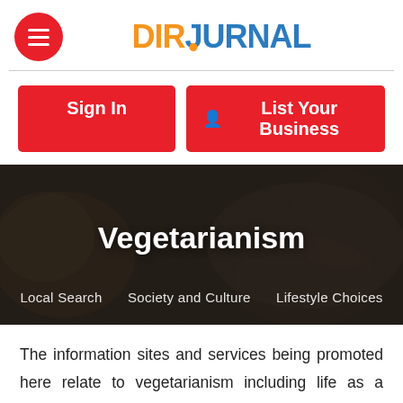[Figure (logo): DirJournal logo with hamburger menu button]
[Figure (infographic): Red buttons: Sign In and List Your Business]
[Figure (photo): Hero banner with food background image showing Vegetarianism title and breadcrumb navigation: Local Search, Society and Culture, Lifestyle Choices]
The information sites and services being promoted here relate to vegetarianism including life as a vegetarian along with recipes, ideas and articles and sites of interest. Please